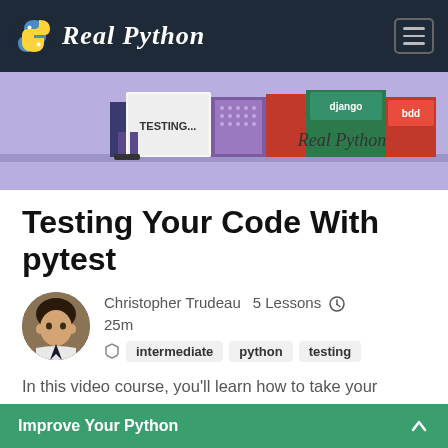Real Python
[Figure (illustration): Hero banner illustration with books, 'TESTING...' text, django and bdd labels on a purple/lavender background with 'Real Python' script text]
Testing Your Code With pytest
Christopher Trudeau  5 Lessons  25m
intermediate  python  testing
In this video course, you'll learn how to take your testing to the next level with pytest. You'll cover intermediate and advanced pytest features such
Improve Your Python